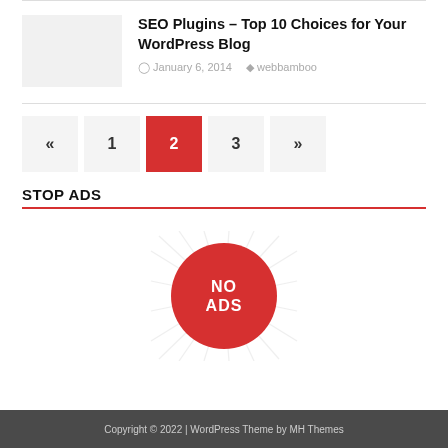SEO Plugins – Top 10 Choices for Your WordPress Blog
January 6, 2014   webbamboo
« 1 2 3 »
STOP ADS
[Figure (logo): NO ADS red circle logo with diagonal ray lines in background]
Copyright © 2022 | WordPress Theme by MH Themes